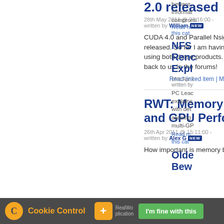2.0 released
28th May 2011 @ 23:16:00 - written by William [NEW]
CUDA 4.0 and Parallel Nsight 2.0 have finally been released. So far I am having a positive experience using both these products. Try them out and report back to us in the forums!
Read linked item | More in this category
RWT: Memory Bandwidth and GPU Performance
26th Apr 2011 @ 15:11:00 - written by Alex G [NEW]
How important is memory bandwidth?
beware information compromised Read more this category NFS Reno Expl 15th Apr written by PC Lead explains with det aliasing multi-GP Read m this cat Old Bew
Cookie Control + RealWo I'm fine with this